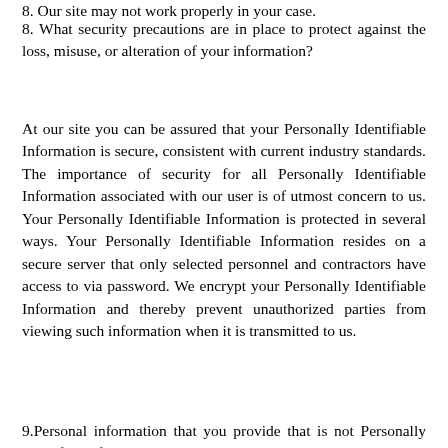8. Our site may not work properly in your case.
8. What security precautions are in place to protect against the loss, misuse, or alteration of your information?
At our site you can be assured that your Personally Identifiable Information is secure, consistent with current industry standards. The importance of security for all Personally Identifiable Information associated with our user is of utmost concern to us. Your Personally Identifiable Information is protected in several ways. Your Personally Identifiable Information resides on a secure server that only selected personnel and contractors have access to via password. We encrypt your Personally Identifiable Information and thereby prevent unauthorized parties from viewing such information when it is transmitted to us.
9.Personal information that you provide that is not Personally Identifiable from our site provides...